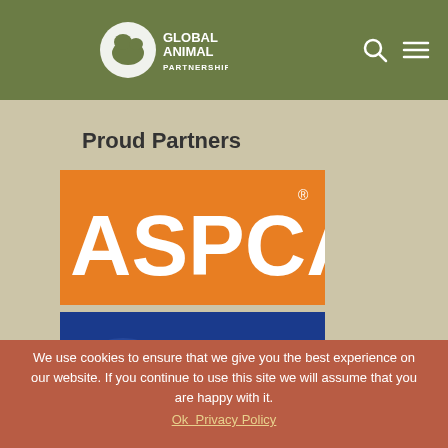Global Animal Partnership
Proud Partners
[Figure (logo): ASPCA logo — white letters on orange background]
[Figure (logo): The Humane Society of the United States logo — white text and animal map graphic on blue background]
We use cookies to ensure that we give you the best experience on our website. If you continue to use this site we will assume that you are happy with it.
Ok Privacy Policy